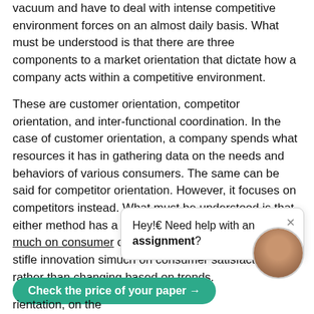vacuum and have to deal with intense competitive environment forces on an almost daily basis. What must be understood is that there are three components to a market orientation that dictate how a company acts within a competitive environment.
These are customer orientation, competitor orientation, and inter-functional coordination. In the case of customer orientation, a company spends what resources it has in gathering data on the needs and behaviors of various consumers. The same can be said for competitor orientation. However, it focuses on competitors instead. What must be understood is that either method has a distinct weakness. Focusing too much on consumer orientation can blind a company [to...] or may stifle innovation si[nce it focuses too] much on consumer satisfaction rather than changing based on trends.
[Figure (other): Chat popup widget with text 'Hey! Need help with an assignment?' and a close (×) button]
[Figure (photo): Circular avatar photo of a woman]
Check the price of your paper →
...rientation, on the